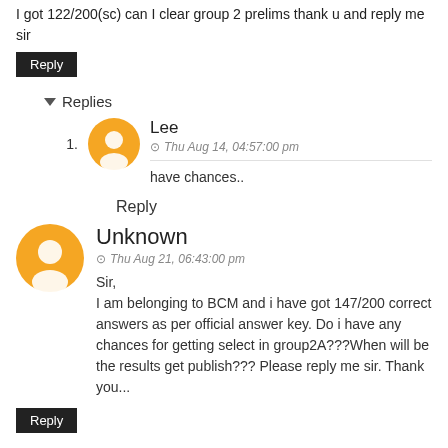I got 122/200(sc) can I clear group 2 prelims thank u and reply me sir
Reply
▾ Replies
Lee
Thu Aug 14, 04:57:00 pm
have chances..
Reply
Unknown
Thu Aug 21, 06:43:00 pm
Sir,
I am belonging to BCM and i have got 147/200 correct answers as per official answer key. Do i have any chances for getting select in group2A???When will be the results get publish??? Please reply me sir. Thank you...
Reply
▾ Replies
Lee